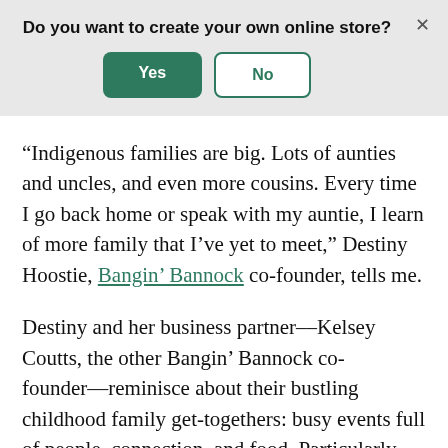Do you want to create your own online store?
“Indigenous families are big. Lots of aunties and uncles, and even more cousins. Every time I go back home or speak with my auntie, I learn of more family that I’ve yet to meet,” Destiny Hoostie, Bangin’ Bannock co-founder, tells me.
Destiny and her business partner––Kelsey Coutts, the other Bangin’ Bannock co-founder––reminisce about their bustling childhood family get-togethers: busy events full of people, connection, and food. Particularly bannock…